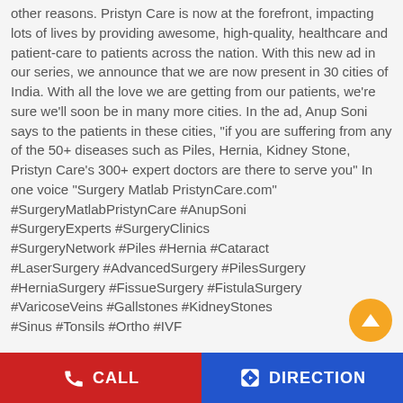other reasons. Pristyn Care is now at the forefront, impacting lots of lives by providing awesome, high-quality, healthcare and patient-care to patients across the nation. With this new ad in our series, we announce that we are now present in 30 cities of India. With all the love we are getting from our patients, we're sure we'll soon be in many more cities. In the ad, Anup Soni says to the patients in these cities, “if you are suffering from any of the 50+ diseases such as Piles, Hernia, Kidney Stone, Pristyn Care’s 300+ expert doctors are there to serve you” In one voice “Surgery Matlab PristynCare.com” #SurgeryMatlabPristynCare #AnupSoni #SurgeryExperts #SurgeryClinics #SurgeryNetwork #Piles #Hernia #Cataract #LaserSurgery #AdvancedSurgery #PilesSurgery #HerniaSurgery #FissueSurgery #FistulaSurgery #VaricoseVeins #Gallstones #KidneyStones #Sinus #Tonsils #Ortho #IVF
#SurgeryMatlabPristynCare
#AnupSoni